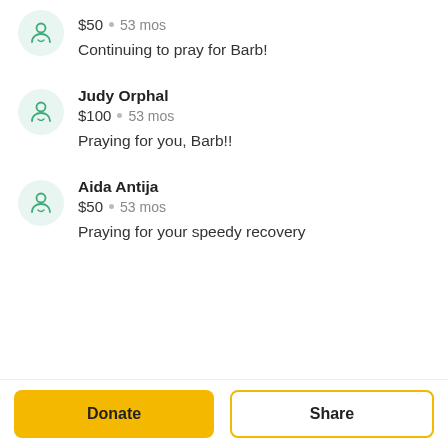$50 • 53 mos
Continuing to pray for Barb!
Judy Orphal
$100 • 53 mos
Praying for you, Barb!!
Aida Antija
$50 • 53 mos
Praying for your speedy recovery
Donate
Share